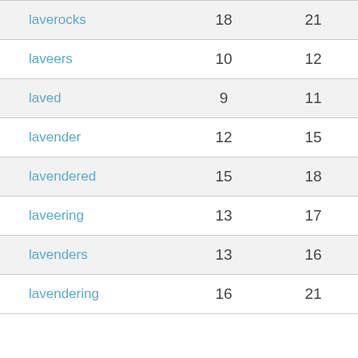| laverocks | 18 | 21 |
| laveers | 10 | 12 |
| laved | 9 | 11 |
| lavender | 12 | 15 |
| lavendered | 15 | 18 |
| laveering | 13 | 17 |
| lavenders | 13 | 16 |
| lavendering | 16 | 21 |